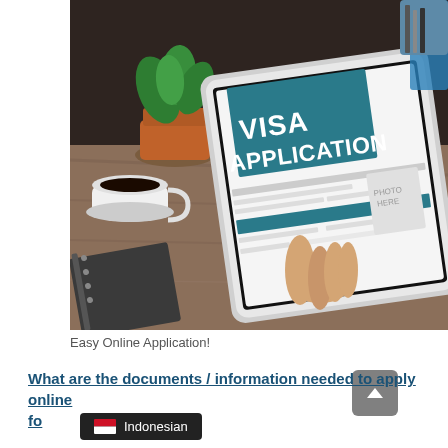[Figure (photo): Person holding a tablet displaying a visa application form, with a coffee cup, plant, and notebook on a wooden desk in the background.]
Easy Online Application!
What are the documents / information needed to apply online fo...